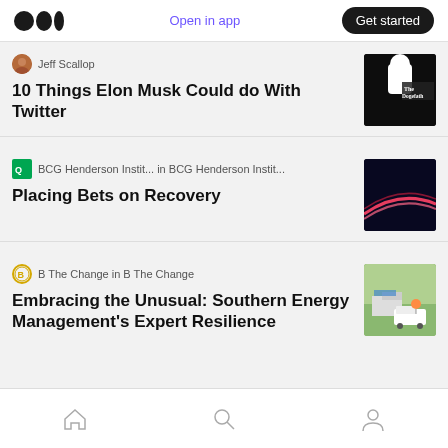Open in app | Get started
Jeff Scallop — 10 Things Elon Musk Could do With Twitter
BCG Henderson Instit... in BCG Henderson Instit... — Placing Bets on Recovery
B The Change in B The Change — Embracing the Unusual: Southern Energy Management's Expert Resilience
Home | Search | Profile